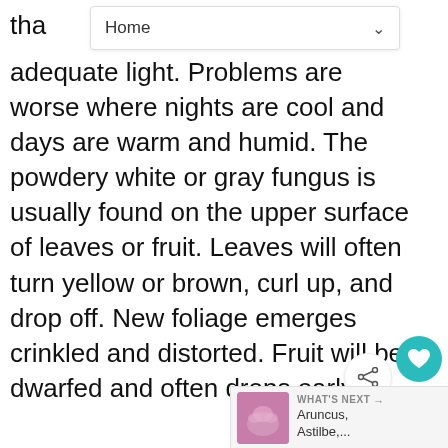tha
[Figure (screenshot): Home navigation dropdown bar with chevron]
adequate light. Problems are worse where nights are cool and days are warm and humid. The powdery white or gray fungus is usually found on the upper surface of leaves or fruit. Leaves will often turn yellow or brown, curl up, and drop off. New foliage emerges crinkled and distorted. Fruit will be dwarfed and often drops early.
Prevention and Control: Plant resistant varieties and space plants properly so they receive adequate light and air circulation. Always water from below, keeping water off foliage. This is paramount for roses. Go easy on the nitrogen fertilizer. Apply fungicides according to label directions before problem